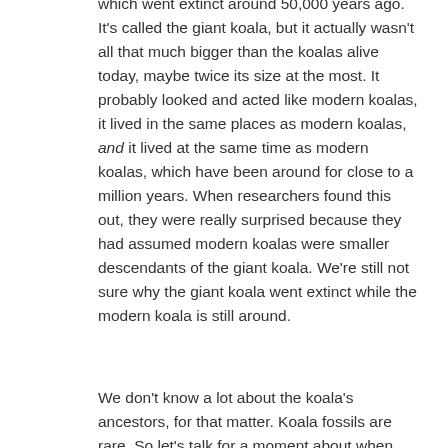which went extinct around 50,000 years ago. It's called the giant koala, but it actually wasn't all that much bigger than the koalas alive today, maybe twice its size at the most. It probably looked and acted like modern koalas, it lived in the same places as modern koalas, and it lived at the same time as modern koalas, which have been around for close to a million years. When researchers found this out, they were really surprised because they had assumed modern koalas were smaller descendants of the giant koala. We're still not sure why the giant koala went extinct while the modern koala is still around.
We don't know a lot about the koala's ancestors, for that matter. Koala fossils are rare. So let's talk for a moment about when marsupials in general developed. An extinct marsupial called the djarthia lived in Australia about 55 million years ago, and